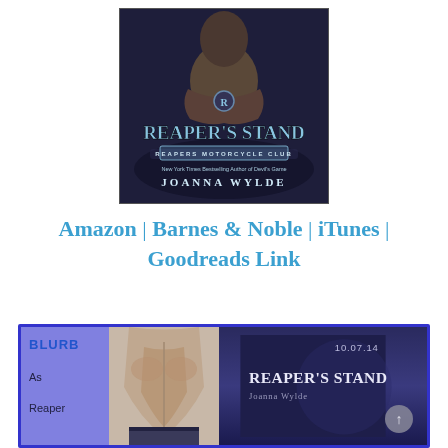[Figure (illustration): Book cover for Reaper's Stand by Joanna Wylde — Reapers Motorcycle Club series. Dark background with a shirtless muscular man on a motorcycle, title in large blue-white serif text, subtitle banner reading REAPERS MOTORCYCLE CLUB, author name at bottom.]
Amazon | Barnes & Noble | iTunes | Goodreads Link
[Figure (illustration): Bottom banner with purple/blue background border. Left side shows BLURB label in blue bold text with text 'As Reaper' below. Center shows a close-up photo of a male back/torso. Right side shows dark blue background with date 10.07.14, title REAPER'S STAND in large text, author Joanna Wylde below.]